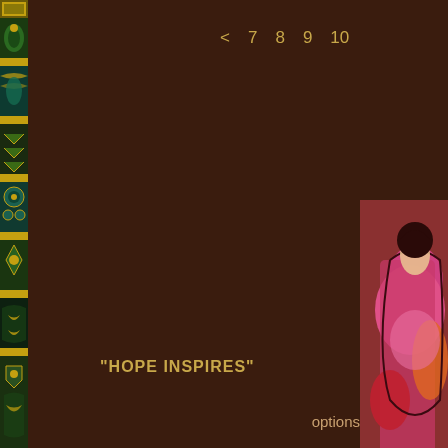[Figure (illustration): Left vertical decorative strip featuring colorful folk art or manuscript-style illustration with gold, green, teal patterns on dark background]
< 7 8 9 10
[Figure (illustration): Partial view of colorful folk art painting on the right side, featuring figures in pink, red and orange on dark background]
"HOPE INSPIRES"
options